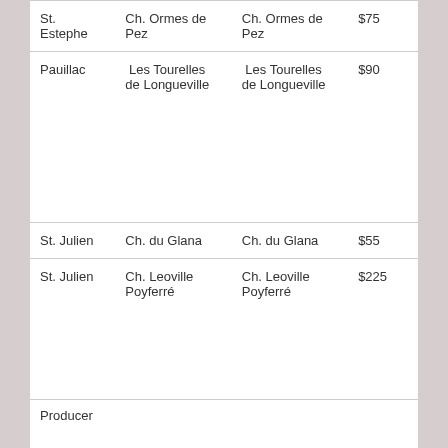| St. Estephe | Ch. Ormes de Pez | Ch. Ormes de Pez | $75 |
| Pauillac | Les Tourelles de Longueville | Les Tourelles de Longueville | $90 |
| St. Julien | Ch. du Glana | Ch. du Glana | $55 |
| St. Julien | Ch. Leoville Poyferré | Ch. Leoville Poyferré | $225 |
| Producer |  |  |  |